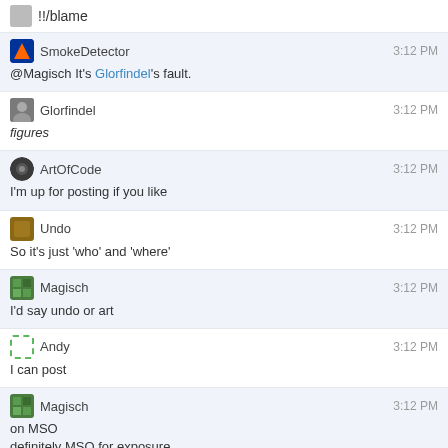!!/blame
SmokeDetector 3:12 PM — @Magisch It's Glorfindel's fault.
Glorfindel 3:12 PM — figures
ArtOfCode 3:12 PM — I'm up for posting if you like
Undo 3:12 PM — So it's just 'who' and 'where'
Magisch 3:12 PM — I'd say undo or art
Andy 3:12 PM — I can post
Magisch 3:12 PM — on MSO
definitely MSO for exposure
Undo 3:13 PM — I'd tend to vote for Andy on mSO, if he's willing to shoulder the ping flood.